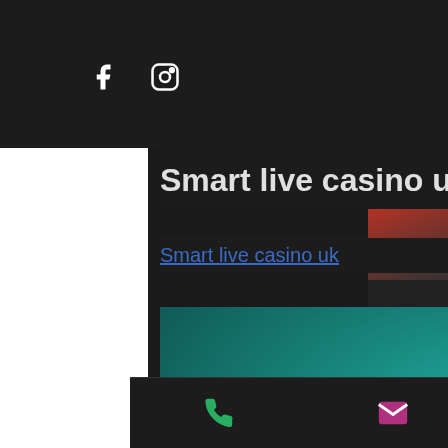f [facebook icon] [instagram icon]  ≡
Smart live casino uk
Smart live casino uk
[Figure (screenshot): Blurred screenshot of a live casino game interface showing dealers and game tables with colorful backgrounds]
[phone icon] [email icon] [whatsapp icon] [instagram icon]